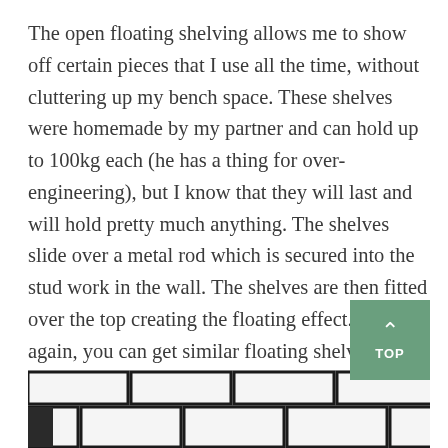The open floating shelving allows me to show off certain pieces that I use all the time, without cluttering up my bench space.  These shelves were homemade by my partner and can hold up to 100kg each (he has a thing for over-engineering), but I know that they will last and will hold pretty much anything.  The shelves slide over a metal rod which is secured into the stud work in the wall.  The shelves are then fitted over the top creating the floating effect.  But again, you can get similar floating shelves ready-made from hardware places like Bunnings and Ikea, you don't have to opt for custom made.
We also decided on the classic white subway tiles as it helps to make the space feel bigger with black grout
[Figure (photo): Partial photo of white subway tiles with black grout lines, showing a kitchen or bathroom wall tiling, cropped at bottom of page.]